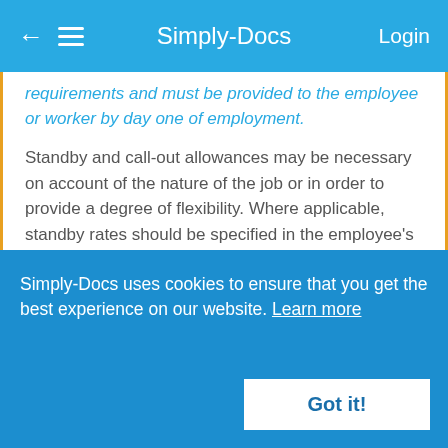Simply-Docs | Login
requirements and must be provided to the employee or worker by day one of employment.
Standby and call-out allowances may be necessary on account of the nature of the job or in order to provide a degree of flexibility. Where applicable, standby rates should be specified in the employee's employment contract. Rates for actual call-out (as opposed to standby) may be paid for separately at a higher rate to include travelling time and, again, should be specified in the employee's employment contract.
Employers should be aware that, if an employee is called out frequently, there could be a breach of the working hours provisions in the Working Time Regulations 1998, unless the
Simply-Docs uses cookies to ensure that you get the best experience on our website. Learn more
Got it!